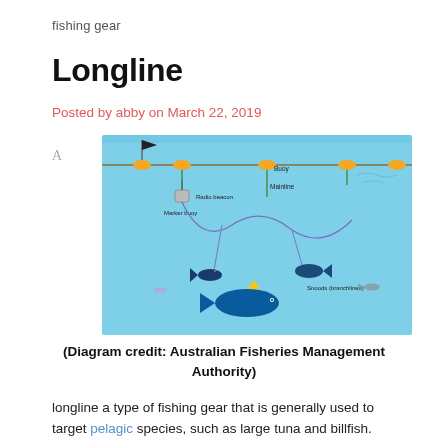fishing gear
Longline
Posted by abby on March 22, 2019
[Figure (illustration): Diagram of a longline fishing setup showing buoys, radio beacon, marker buoy, mainline, and snoods (branchlines) with fish attached underwater.]
(Diagram credit: Australian Fisheries Management Authority)
A longline a type of fishing gear that is generally used to target pelagic species, such as large tuna and billfish.